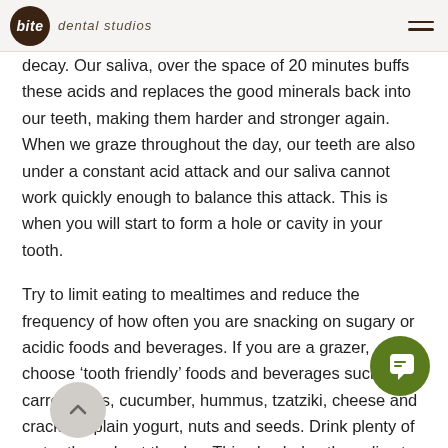bite dental studios
decay.  Our saliva, over the space of 20 minutes buffs these acids and replaces the good minerals back into our teeth, making them harder and stronger again. When we graze throughout the day, our teeth are also under a constant acid attack and our saliva cannot work quickly enough to balance this attack. This is when you will start to form a hole or cavity in your tooth.
Try to limit eating to mealtimes and reduce the frequency of how often you are snacking on sugary or acidic foods and beverages. If you are a grazer, choose ‘tooth friendly’ foods and beverages such as carrot sticks, cucumber, hummus, tzatziki, cheese and crackers, plain yogurt, nuts and seeds. Drink plenty of water throughout the day. This also helps the saliva to remineralise your teeth.
Schedule workout in your calendar